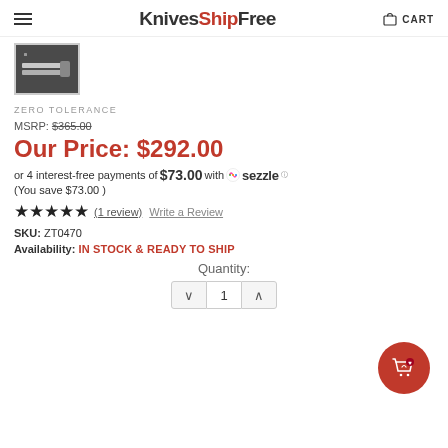KnivesShipFree CART
[Figure (photo): Thumbnail image of a folding knife on dark background]
ZERO TOLERANCE
MSRP: $365.00
Our Price: $292.00
or 4 interest-free payments of $73.00 with Sezzle
(You save $73.00 )
★★★★★ (1 review)  Write a Review
SKU:  ZT0470
Availability:  IN STOCK & READY TO SHIP
Quantity:
1